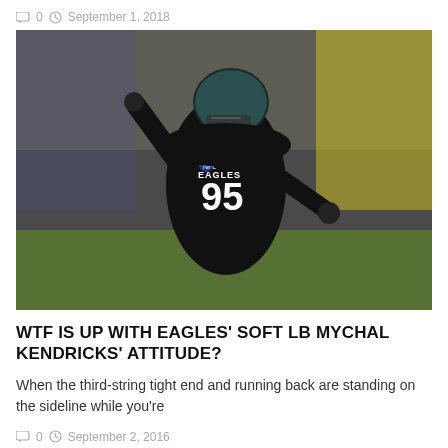0   September 1, 2018
[Figure (photo): Philadelphia Eagles player #95 Mychal Kendricks in black uniform and teal/black helmet, celebrating on the field with arms raised, blurred crowd and yellow-jacketed officials in the background]
WTF IS UP WITH EAGLES' SOFT LB MYCHAL KENDRICKS' ATTITUDE?
When the third-string tight end and running back are standing on the sideline while you're
0   September 2, 2016